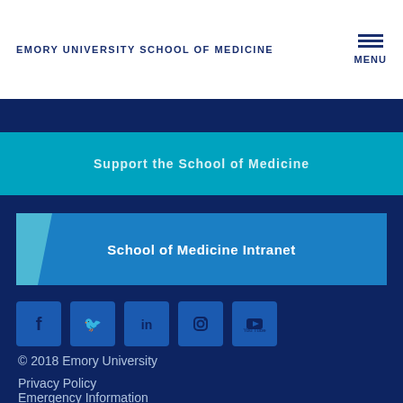EMORY UNIVERSITY SCHOOL OF MEDICINE
Support the School of Medicine
School of Medicine Intranet
[Figure (infographic): Social media icons: Facebook, Twitter, LinkedIn, Instagram, YouTube]
© 2018 Emory University
Privacy Policy
Emergency Information